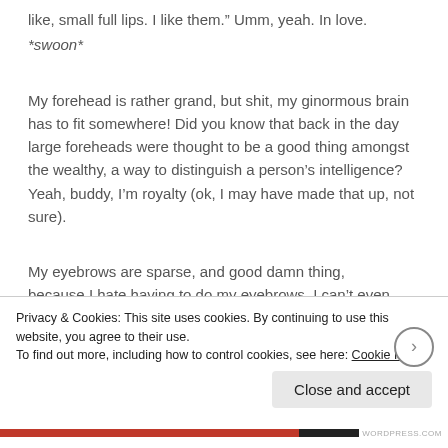like, small full lips. I like them.” Umm, yeah. In love.
*swoon*
My forehead is rather grand, but shit, my ginormous brain has to fit somewhere! Did you know that back in the day large foreheads were thought to be a good thing amongst the wealthy, a way to distinguish a person’s intelligence? Yeah, buddy, I’m royalty (ok, I may have made that up, not sure).
My eyebrows are sparse, and good damn thing, because I hate having to do my eyebrows. I can’t even
Privacy & Cookies: This site uses cookies. By continuing to use this website, you agree to their use.
To find out more, including how to control cookies, see here: Cookie Policy
Close and accept